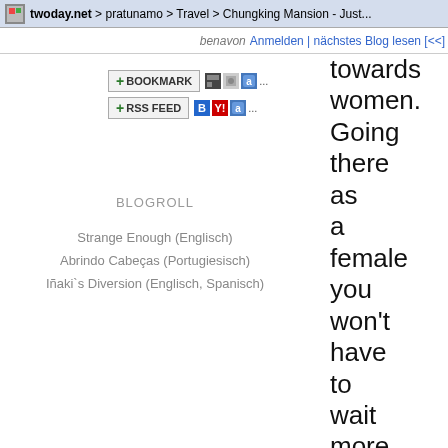twoday.net > pratunamo > Travel > Chungking Mansion - Just...
Anmelden | nächstes Blog lesen [<<]
[Figure (screenshot): Bookmark and RSS Feed buttons with social bookmark icons]
BLOGROLL
Strange Enough (Englisch)
Abrindo Cabeças (Portugiesisch)
Iñaki`s Diversion (Englisch, Spanisch)
towards women. Going there as a female you won't have to wait more than a minute until the mostly Indian guys start molesting you in a very rude